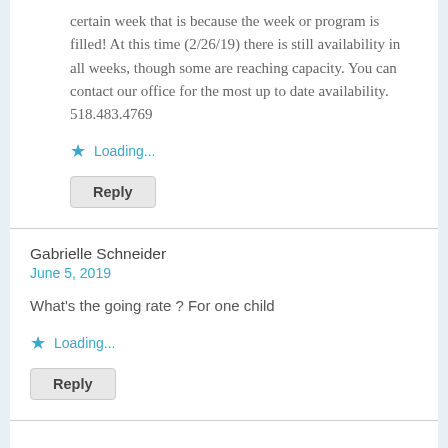certain week that is because the week or program is filled! At this time (2/26/19) there is still availability in all weeks, though some are reaching capacity. You can contact our office for the most up to date availability. 518.483.4769
Loading...
Reply
Gabrielle Schneider
June 5, 2019
What's the going rate ? For one child
Loading...
Reply